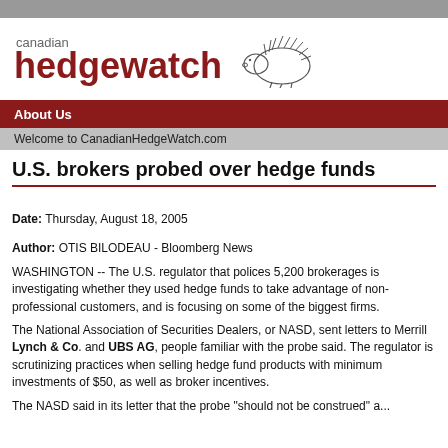[Figure (logo): Canadian Hedgewatch logo with hedgehog illustration]
About Us
Welcome to CanadianHedgeWatch.com
U.S. brokers probed over hedge funds
Date: Thursday, August 18, 2005
Author: OTIS BILODEAU - Bloomberg News
WASHINGTON -- The U.S. regulator that polices 5,200 brokerages is investigating whether they used hedge funds to take advantage of non-professional customers, and is focusing on some of the biggest firms.
The National Association of Securities Dealers, or NASD, sent letters to Merrill Lynch & Co. and UBS AG, people familiar with the probe said. The regulator is scrutinizing practices when selling hedge fund products with minimum investments of $50, as well as broker incentives.
The NASD said in its letter that the probe "should not be construed" as...